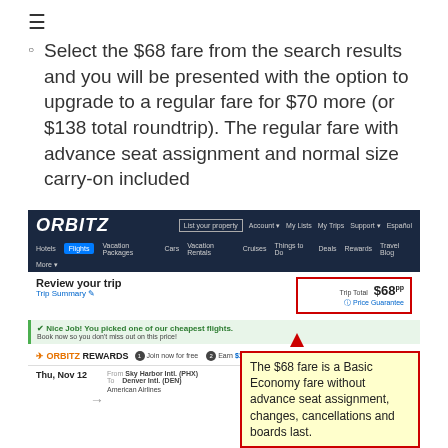☰
Select the $68 fare from the search results and you will be presented with the option to upgrade to a regular fare for $70 more (or $138 total roundtrip). The regular fare with advance seat assignment and normal size carry-on included
[Figure (screenshot): Orbitz website screenshot showing 'Review your trip' page with Trip Total of $68, Orbitz Rewards section, and a tooltip callout box stating 'The $68 fare is a Basic Economy fare without advance seat assignment, changes, cancellations and boards last.']